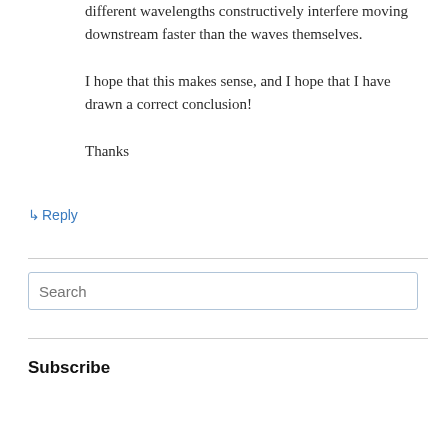different wavelengths constructively interfere moving downstream faster than the waves themselves.

I hope that this makes sense, and I hope that I have drawn a correct conclusion!

Thanks
↳ Reply
Search
Subscribe